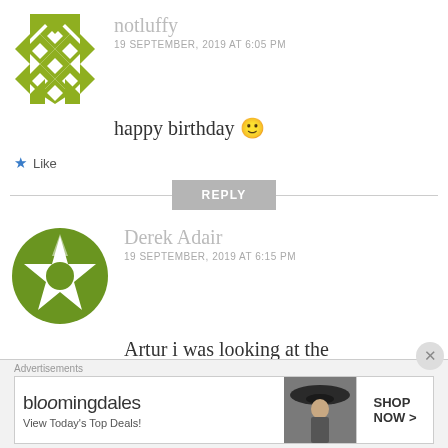[Figure (illustration): Decorative avatar icon with olive/yellow-green geometric diamond pattern for user notluffy]
notluffy
19 SEPTEMBER, 2019 AT 6:05 PM
happy birthday 🙂
★ Like
REPLY
[Figure (illustration): Decorative avatar icon with olive/green geometric star/cross pattern for user Derek Adair]
Derek Adair
19 SEPTEMBER, 2019 AT 6:15 PM
Artur i was looking at the
Advertisements
[Figure (screenshot): Bloomingdale's advertisement banner: bloomingdales logo, 'View Today's Top Deals!', woman in hat image, 'SHOP NOW >' button]